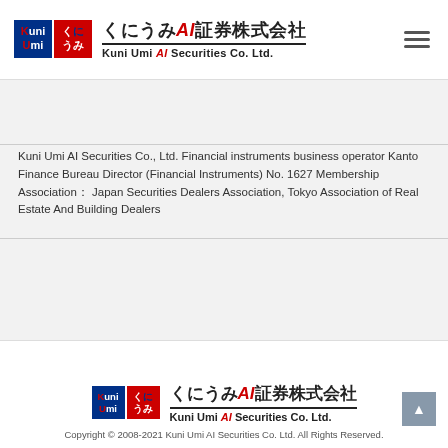くにうみAI証券株式会社 Kuni Umi AI Securities Co. Ltd.
Kuni Umi AI Securities Co., Ltd. Financial instruments business operator Kanto Finance Bureau Director (Financial Instruments) No. 1627 Membership Association： Japan Securities Dealers Association, Tokyo Association of Real Estate And Building Dealers
くにうみAI証券株式会社 Kuni Umi AI Securities Co. Ltd. Copyright © 2008-2021 Kuni Umi AI Securities Co. Ltd. All Rights Reserved.